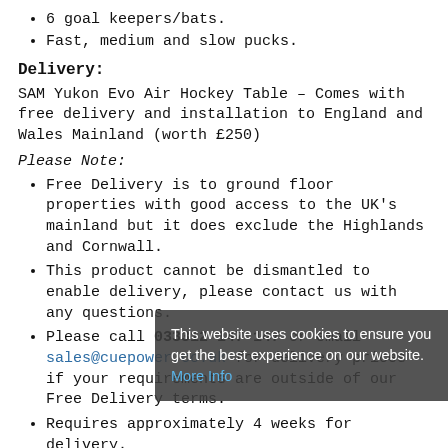6 goal keepers/bats.
Fast, medium and slow pucks.
Delivery:
SAM Yukon Evo Air Hockey Table – Comes with free delivery and installation to England and Wales Mainland (worth £250)
Please Note:
Free Delivery is to ground floor properties with good access to the UK's mainland but it does exclude the Highlands and Cornwall.
This product cannot be dismantled to enable delivery, please contact us with any questions.
Please call 033312 147 147 or email sales@cuepower.co.uk for delivery prices if your requirements are outside of our Free Delivery terms.
Requires approximately 4 weeks for delivery.
This website uses cookies to ensure you get the best experience on our website. More Info